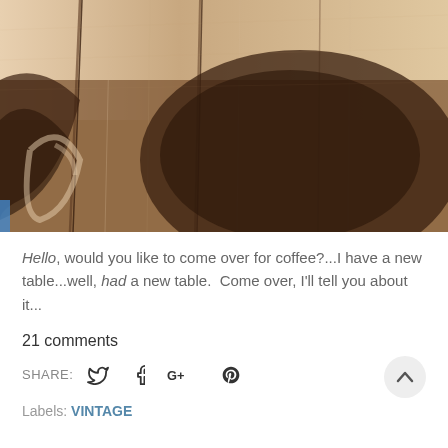[Figure (photo): Close-up photo of a wooden table surface with dark brown coffee stain/ring mark visible on the weathered wood planks]
Hello, would you like to come over for coffee?...I have a new table...well, had a new table.  Come over, I'll tell you about it...
21 comments
SHARE:  [Twitter] [Facebook] [Google+] [Pinterest]
Labels: VINTAGE